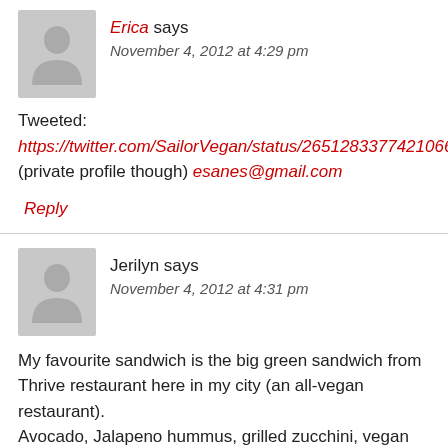[Figure (illustration): Gray avatar placeholder icon of a person silhouette for user Erica]
Erica says
November 4, 2012 at 4:29 pm
Tweeted:
https://twitter.com/SailorVegan/status/265128337742106624
(private profile though) esanes@gmail.com
Reply
[Figure (illustration): Gray avatar placeholder icon of a person silhouette for user Jerilyn]
Jerilyn says
November 4, 2012 at 4:31 pm
My favourite sandwich is the big green sandwich from Thrive restaurant here in my city (an all-vegan restaurant). Avocado, Jalapeno hummus, grilled zucchini, vegan garlic aioli, sprouts, and spinach on toasted organic 7-grain.